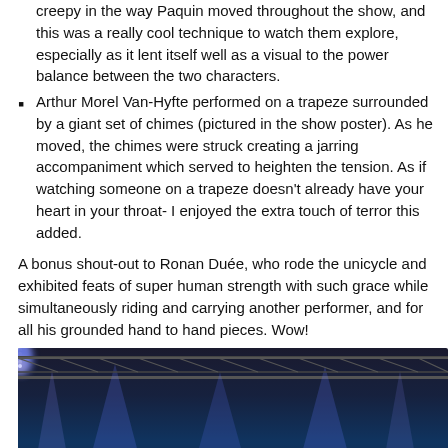creepy in the way Paquin moved throughout the show, and this was a really cool technique to watch them explore, especially as it lent itself well as a visual to the power balance between the two characters.
Arthur Morel Van-Hyfte performed on a trapeze surrounded by a giant set of chimes (pictured in the show poster). As he moved, the chimes were struck creating a jarring accompaniment which served to heighten the tension. As if watching someone on a trapeze doesn't already have your heart in your throat- I enjoyed the extra touch of terror this added.
A bonus shout-out to Ronan Duée, who rode the unicycle and exhibited feats of super human strength with such grace while simultaneously riding and carrying another performer, and for all his grounded hand to hand pieces. Wow!
[Figure (photo): Dark stage photo with blue and white stage lighting beams coming from a truss rig above, illuminating a performance space below.]